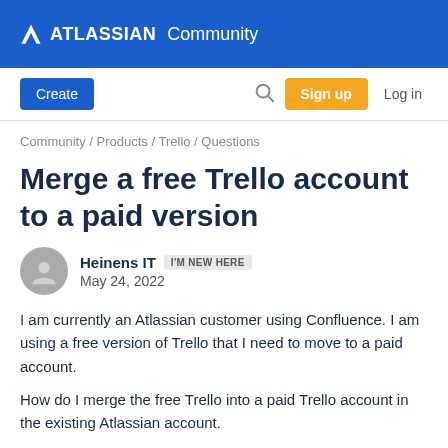ATLASSIAN Community
Create  Search  Sign up  Log in
Community / Products / Trello / Questions
Merge a free Trello account to a paid version
Heinens IT  I'M NEW HERE
May 24, 2022
I am currently an Atlassian customer using Confluence.  I am using a free version of Trello that I need to move to a paid account.
How do I merge the free Trello into a paid Trello account in the existing Atlassian account.